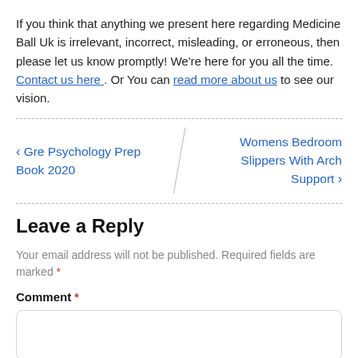If you think that anything we present here regarding Medicine Ball Uk is irrelevant, incorrect, misleading, or erroneous, then please let us know promptly! We're here for you all the time. Contact us here . Or You can read more about us to see our vision.
< Gre Psychology Prep Book 2020   |   Womens Bedroom Slippers With Arch Support >
Leave a Reply
Your email address will not be published. Required fields are marked *
Comment *